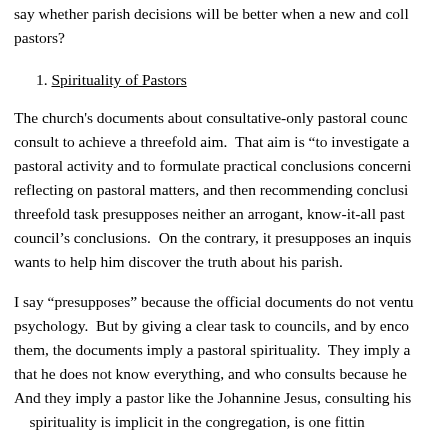say whether parish decisions will be better when a new and collaborative approach involves pastors?
1. Spirituality of Pastors
The church's documents about consultative-only pastoral councils say: pastors consult to achieve a threefold aim. That aim is "to investigate and ponder pastoral activity and to formulate practical conclusions concerning it." By investigating, reflecting on pastoral matters, and then recommending conclusions, councils help pastors. This threefold task presupposes neither an arrogant, know-it-all pastor who merely rubber-stamps council's conclusions. On the contrary, it presupposes an inquisitive pastor who genuinely wants to help him discover the truth about his parish.
I say "presupposes" because the official documents do not venture to describe pastoral psychology. But by giving a clear task to councils, and by encouraging pastors to consult them, the documents imply a pastoral spirituality. They imply a pastor who acknowledges that he does not know everything, and who consults because he wants to learn the truth. And they imply a pastor like the Johannine Jesus, consulting his disciples. A pastor whose spirituality is implicit in the congregation, is one fitting